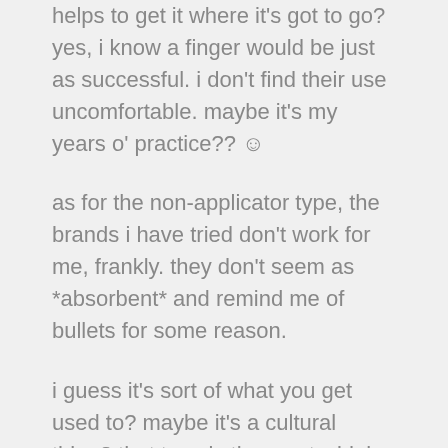helps to get it where it's got to go? yes, i know a finger would be just as successful. i don't find their use uncomfortable. maybe it's my years o' practice?? ☺
as for the non-applicator type, the brands i have tried don't work for me, frankly. they don't seem as *absorbent* and remind me of bullets for some reason.
i guess it's sort of what you get used to? maybe it's a cultural thing? that type is the most widely available kind here in the states